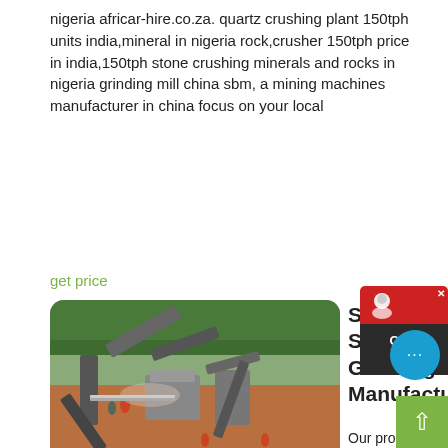nigeria africar-hire.co.za. quartz crushing plant 150tph units india,mineral in nigeria rock,crusher 150tph price in india,150tph stone crushing minerals and rocks in nigeria grinding mill china sbm, a mining machines manufacturer in china focus on your local
get price
[Figure (photo): Aerial/elevated view of a stone crushing plant facility with conveyor belts, machinery, and workers on a red/orange dirt surface with trees in the background.]
Stone Crushers, Sand Makers, Grinding Mill Manufacturer
Our products such as stone crushers,portable stone crusher, sand maker,grinding mill,sand production line,magnetic separator and other machines are built to perfection. Ball Mill. Magnetic Separator. Flotation Cell. Rod Mill. High Pressure Micro Powder Mill. Stone Crusher. VIEW ALL PRODUCTS. Why Choose Us. All machineries from Henan Fote Heavy Machinery Co., ltd are